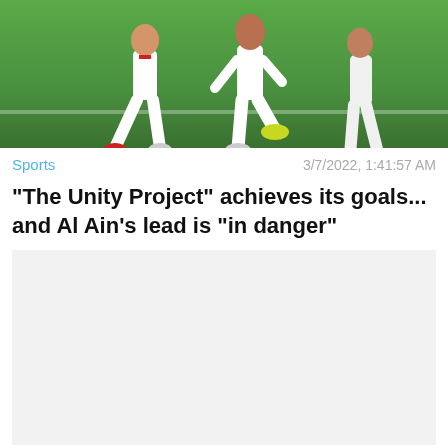[Figure (photo): Soccer/football players on a green grass field, showing legs and feet in white uniforms with red and yellow cleats, mid-action]
Sports
3/7/2022, 1:41:57 AM
"The Unity Project" achieves its goals... and Al Ain's lead is "in danger"
[Figure (other): Advertisement placeholder - light gray empty rectangle]
Sports
7/27/2022, 10:10
[Figure (other): BitLife advertisement banner with blue background showing BitLife logo in white and yellow, 'NOW WITH GOD MODE' text and a hand pointing finger graphic, with help and close buttons]